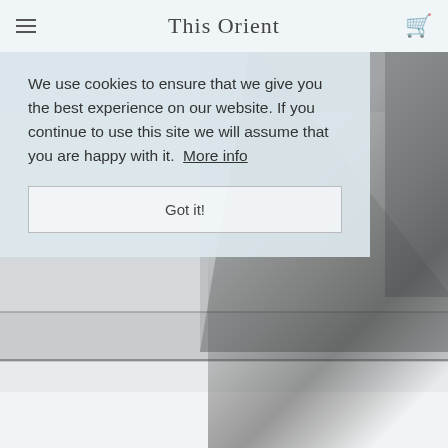This Orient
[Figure (photo): Black and white architectural photograph showing flat geometric surfaces with dramatic diagonal shadow stripe, possibly a building exterior or pool area, visible in background behind cookie consent overlay]
We use cookies to ensure that we give you the best experience on our website. If you continue to use this site we will assume that you are happy with it.  More info
Got it!